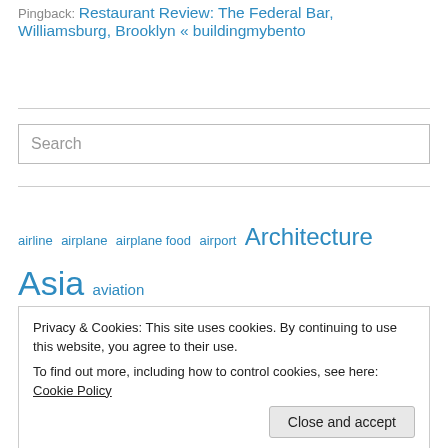Pingback: Restaurant Review: The Federal Bar, Williamsburg, Brooklyn « buildingmybento
Search
airline airplane airplane food airport Architecture Asia aviation Bangkok brand bread Brooklyn buffet California China
Privacy & Cookies: This site uses cookies. By continuing to use this website, you agree to their use. To find out more, including how to control cookies, see here: Cookie Policy
Close and accept
Japan japanese juice language Manhattan nature